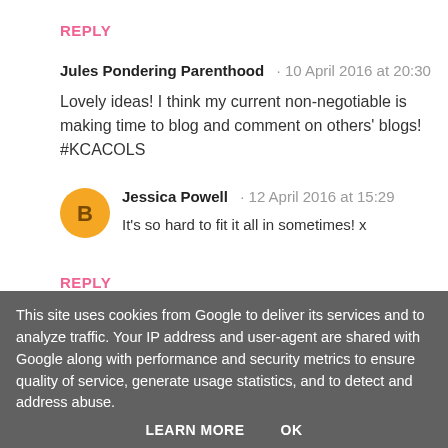REPLY
Jules Pondering Parenthood · 10 April 2016 at 20:30
Lovely ideas! I think my current non-negotiable is making time to blog and comment on others' blogs! #KCACOLS
[Figure (illustration): Orange circular avatar with blogger 'B' icon]
Jessica Powell · 12 April 2016 at 15:29
It's so hard to fit it all in sometimes! x
REPLY
[Figure (illustration): Orange circular avatar partially visible]
S... · 18 April 2016 at 22:22 (partially cut off)
This site uses cookies from Google to deliver its services and to analyze traffic. Your IP address and user-agent are shared with Google along with performance and security metrics to ensure quality of service, generate usage statistics, and to detect and address abuse.
LEARN MORE   OK